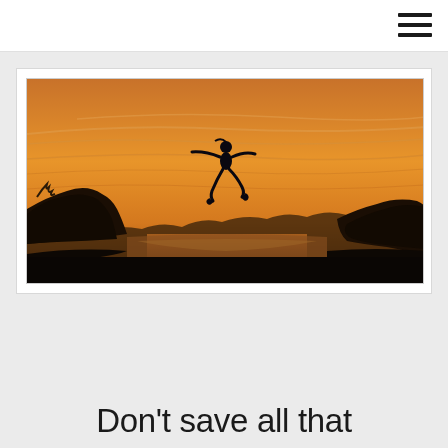[Figure (photo): Silhouette of a person leaping between two rocky outcrops against a dramatic orange sunset sky with mountains and water visible in the background]
Don't save all that